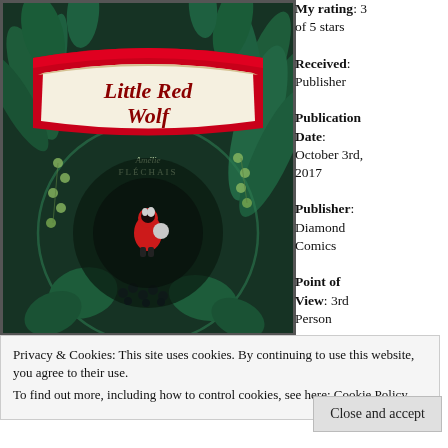[Figure (illustration): Book cover of 'Little Red Wolf' by Amélie Fléchais. Dark green forest background with lush plants and berries. Title in red decorative font on a white ribbon banner. A small figure in a red hooded cloak walks in the center. Author name 'Amélie FLÉCHAIS' written below the title.]
My rating: 3 of 5 stars
Received: Publisher
Publication Date: October 3rd, 2017
Publisher: Diamond Comics
Point of View: 3rd Person
Privacy & Cookies: This site uses cookies. By continuing to use this website, you agree to their use.
To find out more, including how to control cookies, see here: Cookie Policy
Close and accept